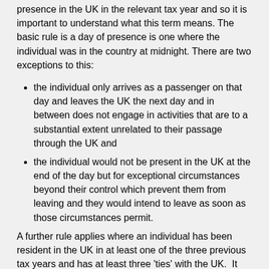presence in the UK in the relevant tax year and so it is important to understand what this term means. The basic rule is a day of presence is one where the individual was in the country at midnight. There are two exceptions to this:
the individual only arrives as a passenger on that day and leaves the UK the next day and in between does not engage in activities that are to a substantial extent unrelated to their passage through the UK and
the individual would not be present in the UK at the end of the day but for exceptional circumstances beyond their control which prevent them from leaving and they would intend to leave as soon as those circumstances permit.
A further rule applies where an individual has been resident in the UK in at least one of the three previous tax years and has at least three 'ties' with the UK.  It will then be necessary to add to the total of 'midnight days' the excess over 30 of any other days where the individual spent any time at all in the UK.
Three tests